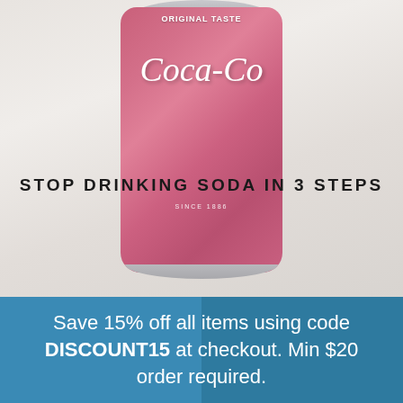[Figure (photo): A pink/red Coca-Cola slim can with 'ORIGINAL TASTE' text visible at the top, placed on a light gray/white surface against a blurred white background. The Coca-Cola script logo is visible on the can along with 'SINCE 1886' text.]
STOP DRINKING SODA IN 3 STEPS
Save 15% off all items using code DISCOUNT15 at checkout. Min $20 order required.